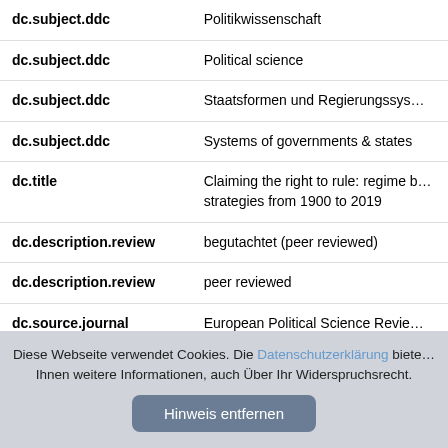| Field | Value |
| --- | --- |
| dc.subject.ddc | Politikwissenschaft |
| dc.subject.ddc | Political science |
| dc.subject.ddc | Staatsformen und Regierungssys… |
| dc.subject.ddc | Systems of governments & states |
| dc.title | Claiming the right to rule: regime b… strategies from 1900 to 2019 |
| dc.description.review | begutachtet (peer reviewed) |
| dc.description.review | peer reviewed |
| dc.source.journal | European Political Science Revie… |
Diese Webseite verwendet Cookies. Die Datenschutzerklärung bietet Ihnen weitere Informationen, auch Über Ihr Widerspruchsrecht.
Hinweis entfernen